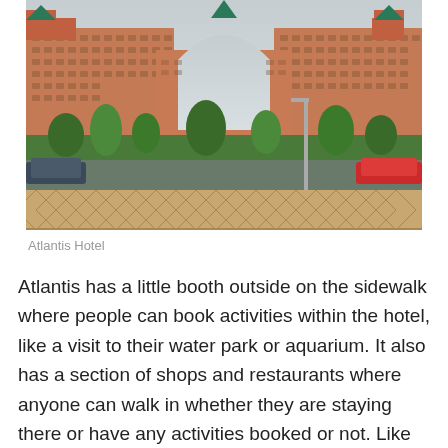[Figure (photo): Exterior photograph of the Atlantis Hotel in Dubai, a large pink/terracotta colored resort building with a distinctive arch in the center, palm trees in front, and a decorative patterned wall/barrier in the foreground. Cars are visible on the road in front.]
Atlantis Hotel
Atlantis has a little booth outside on the sidewalk where people can book activities within the hotel, like a visit to their water park or aquarium. It also has a section of shops and restaurants where anyone can walk in whether they are staying there or have any activities booked or not. Like other touristy places in Dubai, Atlantis also had Christmas